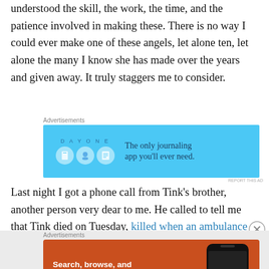understood the skill, the work, the time, and the patience involved in making these. There is no way I could ever make one of these angels, let alone ten, let alone the many I know she has made over the years and given away. It truly staggers me to consider.
[Figure (screenshot): DayOne app advertisement banner with blue background showing app icons and text 'The only journaling app you'll ever need.']
Last night I got a phone call from Tink’s brother, another person very dear to me. He called to tell me that Tink died on Tuesday, killed when an ambulance that was
[Figure (screenshot): DuckDuckGo advertisement banner with orange background showing 'Search, browse, and email with more privacy. All in One Free App' with phone mockup.]